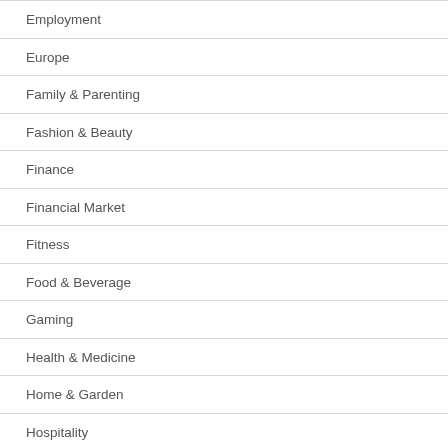Employment
Europe
Family & Parenting
Fashion & Beauty
Finance
Financial Market
Fitness
Food & Beverage
Gaming
Health & Medicine
Home & Garden
Hospitality
Human Resources
India